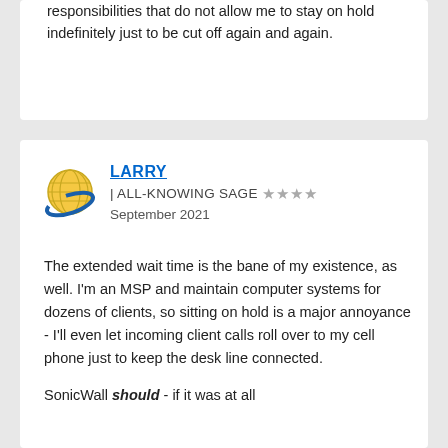responsibilities that do not allow me to stay on hold indefinitely just to be cut off again and again.
LARRY | ALL-KNOWING SAGE ★★★★ September 2021
The extended wait time is the bane of my existence, as well. I'm an MSP and maintain computer systems for dozens of clients, so sitting on hold is a major annoyance - I'll even let incoming client calls roll over to my cell phone just to keep the desk line connected.
SonicWall should - if it was at all